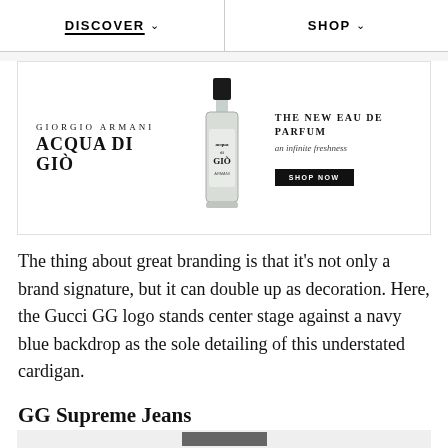DISCOVER   SHOP
[Figure (illustration): Giorgio Armani Acqua Di Giò perfume advertisement banner. Left side shows brand name 'GIORGIO ARMANI / ACQUA DI GIO' in serif font. Center shows a bottle of Acqua di Giò fragrance. Right side shows tagline 'THE NEW EAU DE PARFUM an infinite freshness' with a black 'SHOP NOW' button.]
The thing about great branding is that it's not only a brand signature, but it can double up as decoration. Here, the Gucci GG logo stands center stage against a navy blue backdrop as the sole detailing of this understated cardigan.
GG Supreme Jeans